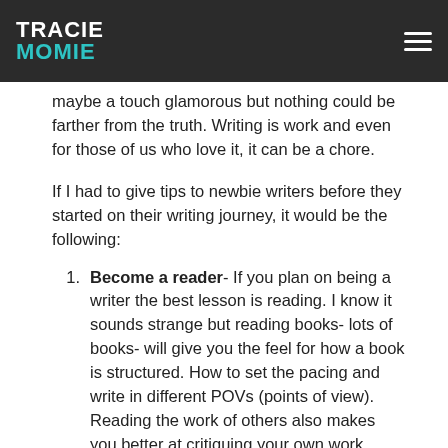TRACIE MOMIE
maybe a touch glamorous but nothing could be farther from the truth. Writing is work and even for those of us who love it, it can be a chore.
If I had to give tips to newbie writers before they started on their writing journey, it would be the following:
Become a reader- If you plan on being a writer the best lesson is reading. I know it sounds strange but reading books- lots of books- will give you the feel for how a book is structured. How to set the pacing and write in different POVs (points of view). Reading the work of others also makes you better at critiquing your own work. When you read books you either get sucked into the story or you notice the mistakes the author made; all of which can be useful research for you as an